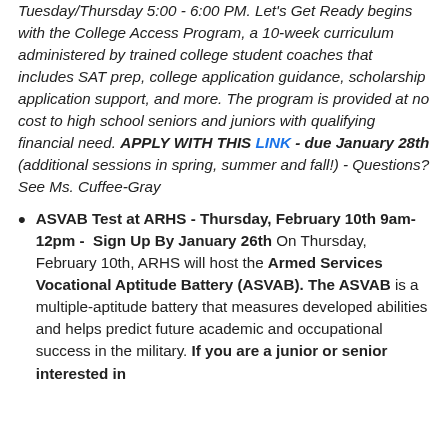Tuesday/Thursday 5:00 - 6:00 PM. Let's Get Ready begins with the College Access Program, a 10-week curriculum administered by trained college student coaches that includes SAT prep, college application guidance, scholarship application support, and more. The program is provided at no cost to high school seniors and juniors with qualifying financial need. APPLY WITH THIS LINK - due January 28th (additional sessions in spring, summer and fall!) - Questions? See Ms. Cuffee-Gray
ASVAB Test at ARHS - Thursday, February 10th 9am-12pm - Sign Up By January 26th On Thursday, February 10th, ARHS will host the Armed Services Vocational Aptitude Battery (ASVAB). The ASVAB is a multiple-aptitude battery that measures developed abilities and helps predict future academic and occupational success in the military. If you are a junior or senior interested in